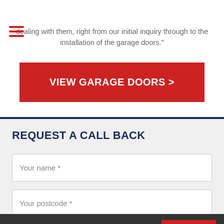[Figure (other): Hamburger menu icon with three red horizontal lines]
dealing with them, right from our initial inquiry through to the installation of the garage doors."
VIEW GARAGE DOORS >
REQUEST A CALL BACK
Your name *
Your postcode *
This site uses cookies | Find out more.
ACCEPT